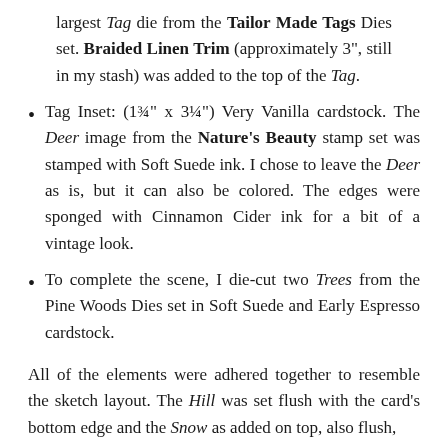largest Tag die from the Tailor Made Tags Dies set. Braided Linen Trim (approximately 3", still in my stash) was added to the top of the Tag.
Tag Inset: (1¾" x 3¼") Very Vanilla cardstock. The Deer image from the Nature's Beauty stamp set was stamped with Soft Suede ink. I chose to leave the Deer as is, but it can also be colored. The edges were sponged with Cinnamon Cider ink for a bit of a vintage look.
To complete the scene, I die-cut two Trees from the Pine Woods Dies set in Soft Suede and Early Espresso cardstock.
All of the elements were adhered together to resemble the sketch layout. The Hill was set flush with the card's bottom edge and the Snow as added on top, also flush,